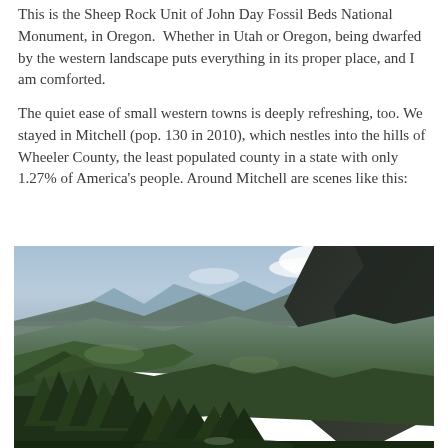This is the Sheep Rock Unit of John Day Fossil Beds National Monument, in Oregon.  Whether in Utah or Oregon, being dwarfed by the western landscape puts everything in its proper place, and I am comforted.
The quiet ease of small western towns is deeply refreshing, too. We stayed in Mitchell (pop. 130 in 2010), which nestles into the hills of Wheeler County, the least populated county in a state with only 1.27% of America's people. Around Mitchell are scenes like this:
[Figure (photo): A sweeping landscape photograph of hills and mountains near Mitchell, Oregon. Dense evergreen forests cover rolling hills in the foreground and middle ground. A dramatic dark rocky cliff rises on the right side. In the background, mountain peaks and a hazy blue valley stretch to the horizon under a partly cloudy sky.]